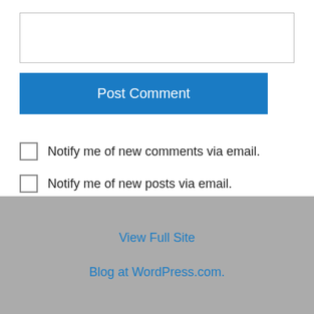[text input box]
Post Comment
Notify me of new comments via email.
Notify me of new posts via email.
This site uses Akismet to reduce spam. Learn how your comment data is processed.
View Full Site
Blog at WordPress.com.